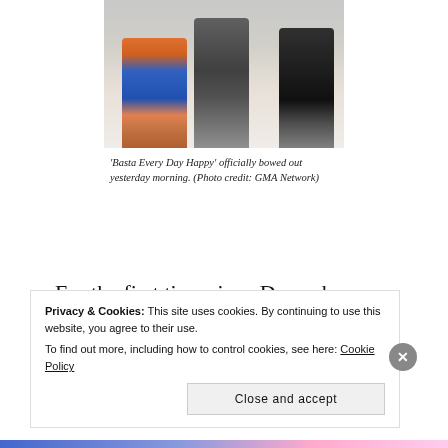[Figure (photo): Photo showing legs and feet of performers/people, partially cropped, on a white background. GMA Network photo.]
'Basta Every Day Happy' officially bowed out yesterday morning. (Photo credit: GMA Network)
For the first time since December 30, 2011, Chef Boy Logro has no weekday program on the GMA Network.
Privacy & Cookies: This site uses cookies. By continuing to use this website, you agree to their use.
To find out more, including how to control cookies, see here: Cookie Policy
Close and accept